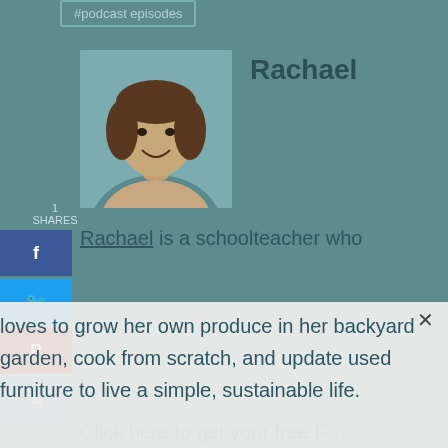#podcast episodes
1 SHARES
[Figure (photo): Photo of Rachael, a woman smiling, circular/square crop]
Rachael
Rachael is a schoolteacher who loves to grow her own produce in her backyard garden, cook from scratch, and update used furniture to live a simple, sustainable life.
Click here to get your free F…